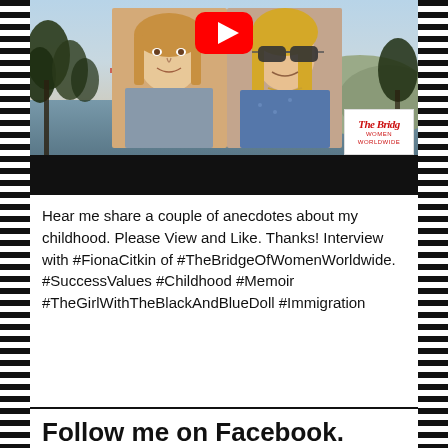[Figure (screenshot): YouTube video thumbnail showing two blonde women in front of a Golden Gate Bridge background. A red YouTube play button is visible at the top center. A 'The Bridge Women Worldwide' logo appears in the bottom right corner. A black bar runs along the bottom of the thumbnail.]
Hear me share a couple of anecdotes about my childhood. Please View and Like. Thanks! Interview with #FionaCitkin of #TheBridgeOfWomenWorldwide. #SuccessValues #Childhood #Memoir #TheGirlWithTheBlackAndBlueDoll #Immigration
Follow me on Facebook.